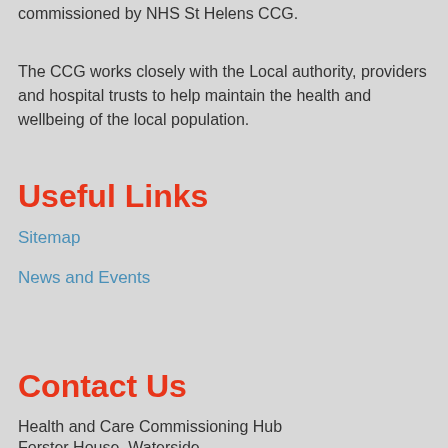commissioned by NHS St Helens CCG.
The CCG works closely with the Local authority, providers and hospital trusts to help maintain the health and wellbeing of the local population.
Useful Links
Sitemap
News and Events
Contact Us
Health and Care Commissioning Hub
Forster House, Waterside
St Helens